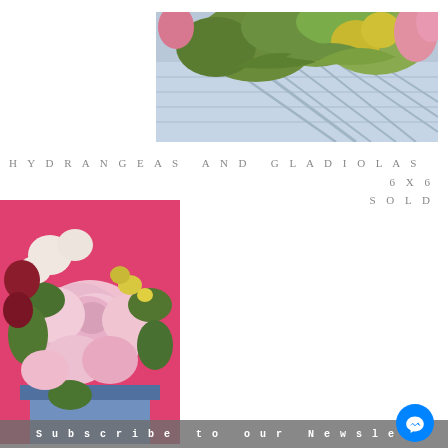Cart
[Figure (photo): Close-up painting of hydrangeas and gladiolas with green leaves on a light blue background, impressionist oil painting style]
HYDRANGEAS AND GLADIOLAS 6X6
SOLD
[Figure (photo): Close-up painting of pink roses and floral arrangement with vivid pink background, impressionist oil painting style]
Subscribe to our Newslet